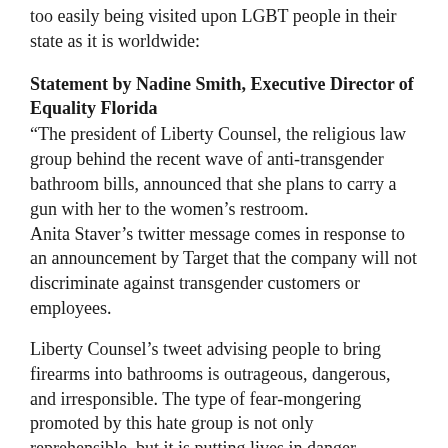too easily being visited upon LGBT people in their state as it is worldwide:
Statement by Nadine Smith, Executive Director of Equality Florida
“The president of Liberty Counsel, the religious law group behind the recent wave of anti-transgender bathroom bills, announced that she plans to carry a gun with her to the women’s restroom.
Anita Staver’s twitter message comes in response to an announcement by Target that the company will not discriminate against transgender customers or employees.
Liberty Counsel’s tweet advising people to bring firearms into bathrooms is outrageous, dangerous, and irresponsible. The type of fear-mongering promoted by this hate group is not only reprehensible, but it is putting lives in danger.
I have contacted Liberty Counsel directly and hope they